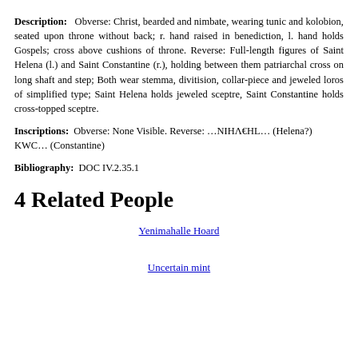Description: Obverse: Christ, bearded and nimbate, wearing tunic and kolobion, seated upon throne without back; r. hand raised in benediction, l. hand holds Gospels; cross above cushions of throne. Reverse: Full-length figures of Saint Helena (l.) and Saint Constantine (r.), holding between them patriarchal cross on long shaft and step; Both wear stemma, divitision, collar-piece and jeweled loros of simplified type; Saint Helena holds jeweled sceptre, Saint Constantine holds cross-topped sceptre.
Inscriptions: Obverse: None Visible. Reverse: …NIHΛ€HL… (Helena?) KWC… (Constantine)
Bibliography: DOC IV.2.35.1
4 Related People
Yenimahalle Hoard
Uncertain mint